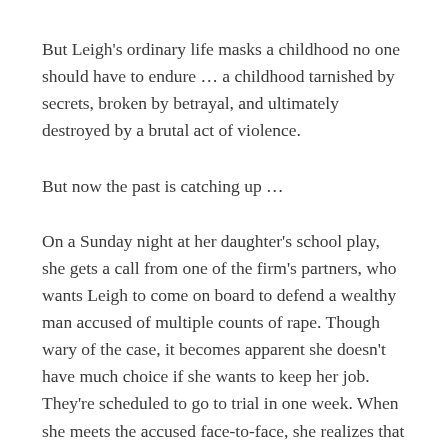But Leigh's ordinary life masks a childhood no one should have to endure ... a childhood tarnished by secrets, broken by betrayal, and ultimately destroyed by a brutal act of violence.
But now the past is catching up ...
On a Sunday night at her daughter's school play, she gets a call from one of the firm's partners, who wants Leigh to come on board to defend a wealthy man accused of multiple counts of rape. Though wary of the case, it becomes apparent she doesn't have much choice if she wants to keep her job. They're scheduled to go to trial in one week. When she meets the accused face-to-face, she realizes that it's no coincidence that he's specifically asked for her to represent him. She knows him. And he knows her. More to the point, he may know what happened over twenty years ago, and why Leigh has spent two decades